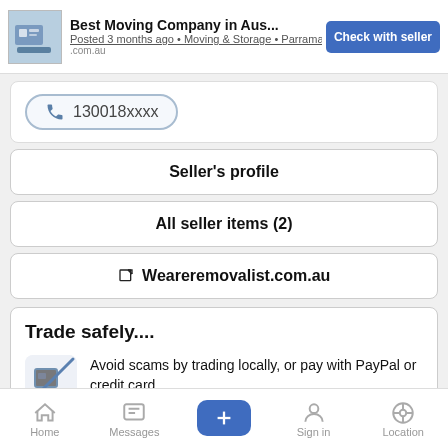Best Moving Company in Aus... • Check with seller • Posted 3 months ago • Moving & Storage • Parramatta • .com.au
130018xxxx
Seller's profile
All seller items (2)
Weareremovalist.com.au
Trade safely....
Avoid scams by trading locally, or pay with PayPal or credit card.
Don't buy or sell outside of your country. Don't accept cheques from outside your country.
Home  Messages  +  Sign in  Location